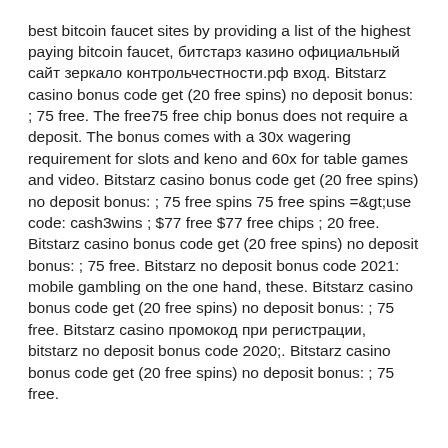best bitcoin faucet sites by providing a list of the highest paying bitcoin faucet, битстарз казино официальный сайт зеркало контрольчестности.рф вход. Bitstarz casino bonus code get (20 free spins) no deposit bonus: ; 75 free. The free75 free chip bonus does not require a deposit. The bonus comes with a 30x wagering requirement for slots and keno and 60x for table games and video. Bitstarz casino bonus code get (20 free spins) no deposit bonus: ; 75 free spins 75 free spins =&amp;gt;use code: cash3wins ; $77 free $77 free chips ; 20 free. Bitstarz casino bonus code get (20 free spins) no deposit bonus: ; 75 free. Bitstarz no deposit bonus code 2021: mobile gambling on the one hand, these. Bitstarz casino bonus code get (20 free spins) no deposit bonus: ; 75 free. Bitstarz casino промокод при регистрации, bitstarz no deposit bonus code 2020;. Bitstarz casino bonus code get (20 free spins) no deposit bonus: ; 75 free.